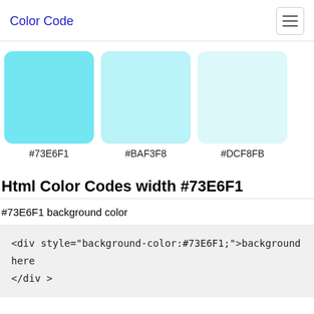Color Code
[Figure (illustration): Three color swatches: #73E6F1 (vivid cyan), #BAF3F8 (light cyan), #DCF8FB (very light cyan), each as rounded rectangles with hex labels below]
Html Color Codes width #73E6F1
#73E6F1 background color
<div style="background-color:#73E6F1;">background here </div >